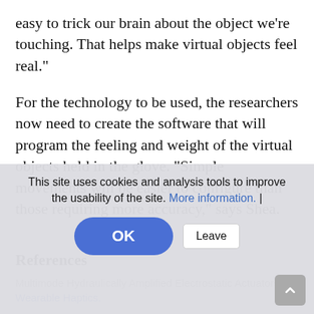easy to trick our brain about the object we're touching. That helps make virtual objects feel real."
For the technology to be used, the researchers now need to create the software that will program the feeling and weight of the virtual objects held in the glove. "Simple movements will be easier to configure than those requiring more accuracy," says Shea.
References
This site uses cookies and analysis tools to improve the usability of the site. More information. |
Multimode Hydraulically Amplified Electrostatic Actuators for Wearable Haptics.